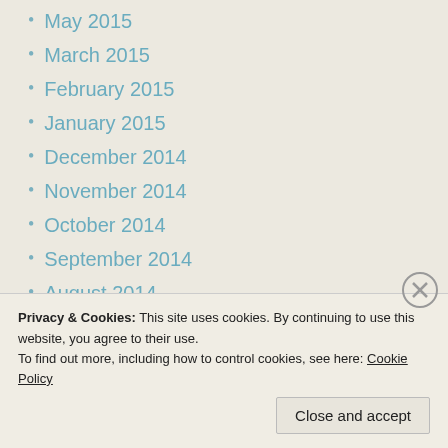May 2015
March 2015
February 2015
January 2015
December 2014
November 2014
October 2014
September 2014
August 2014
July 2014
June 2014
May 2014
April 2014
March 2014
February 2014
Privacy & Cookies: This site uses cookies. By continuing to use this website, you agree to their use. To find out more, including how to control cookies, see here: Cookie Policy
Close and accept